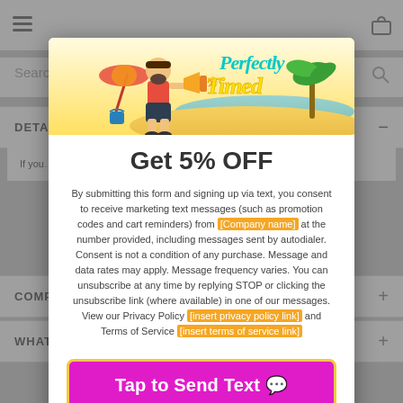[Figure (screenshot): Website background showing navigation bar with hamburger menu, phone icon, search bar, DETAILS section, COMP section, WHAT section — all dimmed behind a modal overlay]
[Figure (illustration): Popup banner with beach summer theme: cartoon man in red tank top with megaphone, beach umbrella, palm tree, sand, cursive text reading 'Perfectly Timed' in teal/yellow]
Get 5% OFF
By submitting this form and signing up via text, you consent to receive marketing text messages (such as promotion codes and cart reminders) from [Company name] at the number provided, including messages sent by autodialer. Consent is not a condition of any purchase. Message and data rates may apply. Message frequency varies. You can unsubscribe at any time by replying STOP or clicking the unsubscribe link (where available) in one of our messages. View our Privacy Policy [insert privacy policy link] and Terms of Service [insert terms of service link]
Tap to Send Text 💬
No thanks